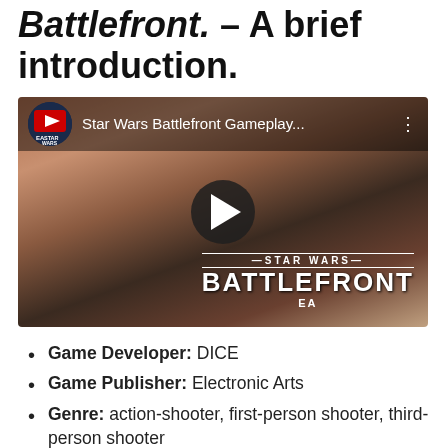Battlefront. – A brief introduction.
[Figure (screenshot): YouTube video thumbnail for Star Wars Battlefront Gameplay showing a Stormtrooper in a desert setting with the Star Wars Battlefront EA logo and a play button overlay.]
Game Developer: DICE
Game Publisher: Electronic Arts
Genre: action-shooter, first-person shooter, third-person shooter